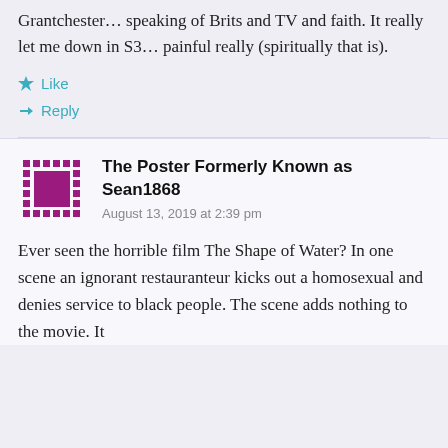Grantchester… speaking of Brits and TV and faith. It really let me down in S3… painful really (spiritually that is).
Like
Reply
The Poster Formerly Known as Sean1868
August 13, 2019 at 2:39 pm
Ever seen the horrible film The Shape of Water? In one scene an ignorant restauranteur kicks out a homosexual and denies service to black people. The scene adds nothing to the movie. It